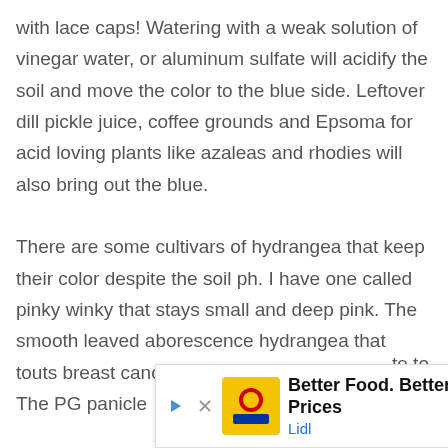with lace caps! Watering with a weak solution of vinegar water, or aluminum sulfate will acidify the soil and move the color to the blue side. Leftover dill pickle juice, coffee grounds and Epsoma for acid loving plants like azaleas and rhodies will also bring out the blue.
There are some cultivars of hydrangea that keep their color despite the soil ph. I have one called pinky winky that stays small and deep pink. The smooth leaved aborescence hydrangea that touts breast cancer awareness also stays pink. The PG panicle
[Figure (other): Advertisement banner for Lidl grocery store with text 'Better Food. Betterer Prices' and a navigation/map icon, partially overlapping the article text.]